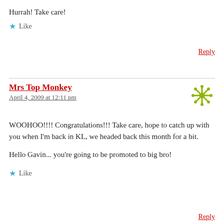Hurrah! Take care!
★ Like
Reply
Mrs Top Monkey
April 4, 2009 at 12:11 pm
WOOHOO!!!! Congratulations!!! Take care, hope to catch up with you when I'm back in KL, we headed back this month for a bit.

Hello Gavin... you're going to be promoted to big bro!
★ Like
Reply